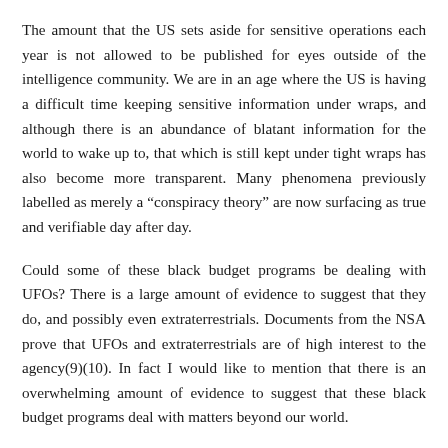The amount that the US sets aside for sensitive operations each year is not allowed to be published for eyes outside of the intelligence community. We are in an age where the US is having a difficult time keeping sensitive information under wraps, and although there is an abundance of blatant information for the world to wake up to, that which is still kept under tight wraps has also become more transparent. Many phenomena previously labelled as merely a “conspiracy theory” are now surfacing as true and verifiable day after day.
Could some of these black budget programs be dealing with UFOs? There is a large amount of evidence to suggest that they do, and possibly even extraterrestrials. Documents from the NSA prove that UFOs and extraterrestrials are of high interest to the agency(9)(10). In fact I would like to mention that there is an overwhelming amount of evidence to suggest that these black budget programs deal with matters beyond our world.